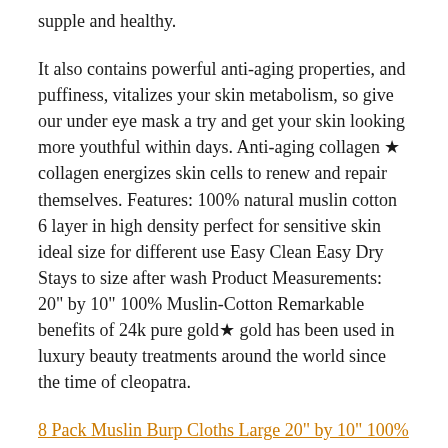supple and healthy.
It also contains powerful anti-aging properties, and puffiness, vitalizes your skin metabolism, so give our under eye mask a try and get your skin looking more youthful within days. Anti-aging collagen ★ collagen energizes skin cells to renew and repair themselves. Features: 100% natural muslin cotton 6 layer in high density perfect for sensitive skin ideal size for different use Easy Clean Easy Dry Stays to size after wash Product Measurements: 20" by 10" 100% Muslin-Cotton Remarkable benefits of 24k pure gold★ gold has been used in luxury beauty treatments around the world since the time of cleopatra.
8 Pack Muslin Burp Cloths Large 20" by 10" 100% Cotton, Hand Wash Cloth 6 Layers Extra Absorbent and Soft #ad - It's so cheerful, which is why this